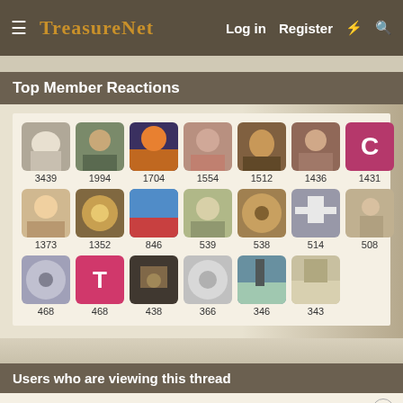TreasureNet  Log in  Register
Top Member Reactions
[Figure (infographic): Grid of member avatars with reaction counts: 3439, 1994, 1704, 1554, 1512, 1436, 1431, 1373, 1352, 846, 539, 538, 514, 508, 468, 468, 438, 366, 346, 343]
Users who are viewing this thread
Total: 2 (members: 0, guests: 2)